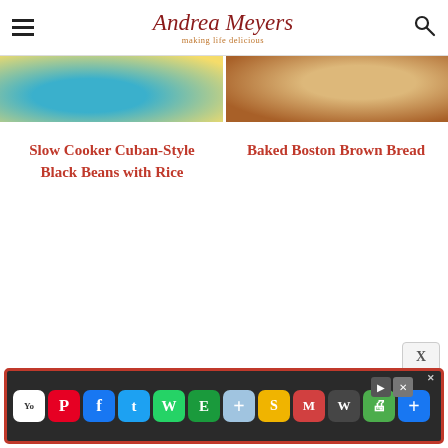Andrea Meyers — making life delicious
[Figure (photo): Partial photo of a dish with blue and yellow tones (left) and partial photo of bread with golden-brown tones (right)]
Slow Cooker Cuban-Style Black Beans with Rice
Baked Boston Brown Bread
[Figure (screenshot): Mobile advertisement bar showing social media app icons: Pinterest, Facebook, Twitter, WhatsApp, Evernote, plus, Slides, Mail, WordPress, Print, Share]